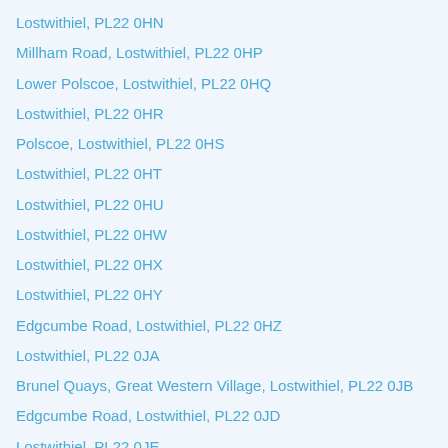Lostwithiel, PL22 0HN
Millham Road, Lostwithiel, PL22 0HP
Lower Polscoe, Lostwithiel, PL22 0HQ
Lostwithiel, PL22 0HR
Polscoe, Lostwithiel, PL22 0HS
Lostwithiel, PL22 0HT
Lostwithiel, PL22 0HU
Lostwithiel, PL22 0HW
Lostwithiel, PL22 0HX
Lostwithiel, PL22 0HY
Edgcumbe Road, Lostwithiel, PL22 0HZ
Lostwithiel, PL22 0JA
Brunel Quays, Great Western Village, Lostwithiel, PL22 0JB
Edgcumbe Road, Lostwithiel, PL22 0JD
Lostwithiel, PL22 0JE